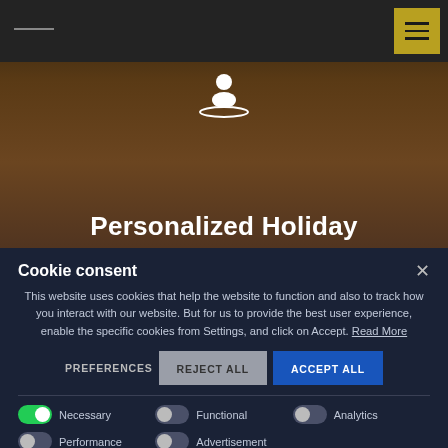[Figure (screenshot): Website hero section with dark brown background showing a person icon and the text 'Personalized Holiday' in white bold text. A dark navigation bar is at the top with a hamburger menu icon on a gold/yellow background at the top right.]
Personalized Holiday
Cookie consent
This website uses cookies that help the website to function and also to track how you interact with our website. But for us to provide the best user experience, enable the specific cookies from Settings, and click on Accept. Read More
PREFERENCES | REJECT ALL | ACCEPT ALL
Necessary | Functional | Analytics | Performance | Advertisement
SAVE MY PREFERENCES